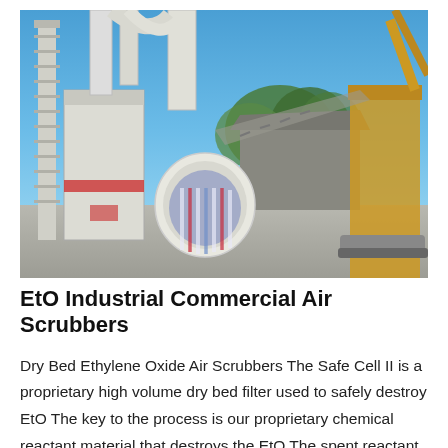[Figure (photo): Outdoor industrial air scrubber equipment — large white cylindrical and boxy machinery with pipes and ducts, construction crane visible on right, green trees in background, blue sky, concrete ground.]
EtO Industrial Commercial Air Scrubbers
Dry Bed Ethylene Oxide Air Scrubbers The Safe Cell II is a proprietary high volume dry bed filter used to safely destroy EtO The key to the process is our proprietary chemical reactant material that destroys the EtO The spent reactant may be easily disposed in non hazardous landfills Check with your local